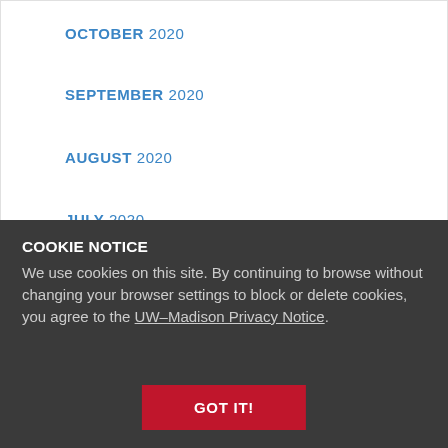OCTOBER 2020
SEPTEMBER 2020
AUGUST 2020
JULY 2020
JUNE 2020
COOKIE NOTICE
We use cookies on this site. By continuing to browse without changing your browser settings to block or delete cookies, you agree to the UW–Madison Privacy Notice.
GOT IT!
SEPTEMBER 2019
AUGUST 2019